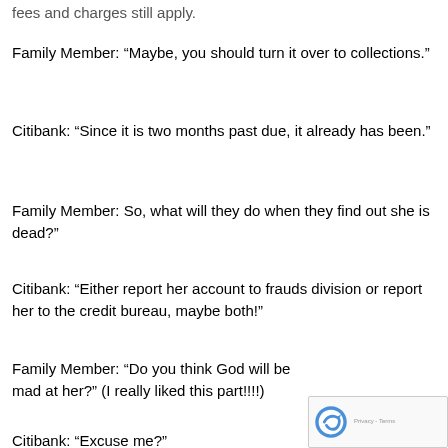fees and charges still apply.
Family Member: “Maybe, you should turn it over to collections.”
Citibank: “Since it is two months past due, it already has been.”
Family Member: So, what will they do when they find out she is dead?
Citibank: “Either report her account to frauds division or report her to the credit bureau, maybe both!”
Family Member: “Do you think God will be mad at her?” (I really liked this part!!!!)
Citibank: “Excuse me?”